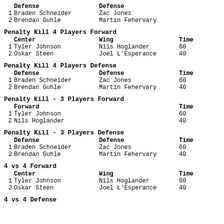|  | Defense | Defense |
| --- | --- | --- |
| 1 | Braden Schneider | Zac Jones |
| 2 | Brendan Guhle | Martin Fehervary |
Penalty Kill 4 Players Forward
|  | Center | Wing | Time |
| --- | --- | --- | --- |
| 1 | Tyler Johnson | Nils Hoglander | 60 |
| 2 | Oskar Steen | Joel L'Esperance | 40 |
Penalty Kill 4 Players Defense
|  | Defense | Defense | Time |
| --- | --- | --- | --- |
| 1 | Braden Schneider | Zac Jones | 60 |
| 2 | Brendan Guhle | Martin Fehervary | 40 |
Penalty Kill - 3 Players Forward
|  | Forward |  | Time |
| --- | --- | --- | --- |
| 1 | Tyler Johnson |  | 60 |
| 2 | Nils Hoglander |  | 40 |
Penalty Kill - 3 Players Defense
|  | Defense | Defense | Time |
| --- | --- | --- | --- |
| 1 | Braden Schneider | Zac Jones | 60 |
| 2 | Brendan Guhle | Martin Fehervary | 40 |
4 vs 4 Forward
|  | Center | Wing | Time |
| --- | --- | --- | --- |
| 1 | Tyler Johnson | Nils Hoglander | 60 |
| 2 | Oskar Steen | Joel L'Esperance | 40 |
4 vs 4 Defense